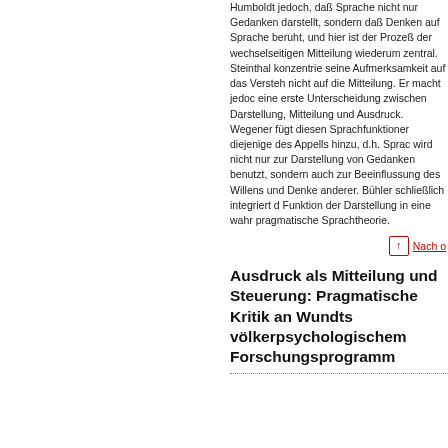Humboldt jedoch, daß Sprache nicht nur Gedanken darstellt, sondern daß Denken auf Sprache beruht, und hier ist der Prozeß der wechselseitigen Mitteilung wiederum zentral. Steinthal konzentriert seine Aufmerksamkeit auf das Verstehen, nicht auf die Mitteilung. Er macht jedoch eine erste Unterscheidung zwischen Darstellung, Mitteilung und Ausdruck. Wegener fügt diesen Sprachfunktionen diejenige des Appells hinzu, d.h. Sprache wird nicht nur zur Darstellung von Gedanken benutzt, sondern auch zur Beeinflussung des Willens und Denkens anderer. Bühler schließlich integriert die Funktion der Darstellung in eine wahrh pragmatische Sprachtheorie.
Nach o
Ausdruck als Mitteilung und Steuerung: Pragmatische Kritik an Wundts völkerpsychologischem Forschungsprogramm